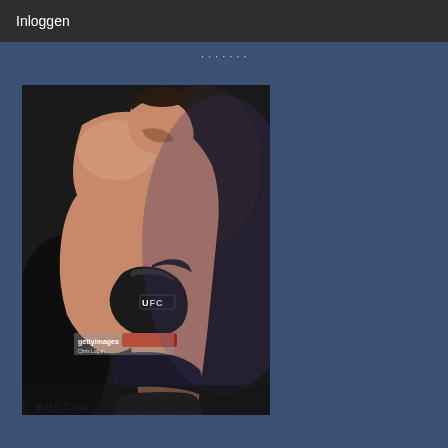Inloggen
[Figure (photo): A shirtless UFC fighter wearing black UFC gloves with red wrist wrap, bowing his head with his gloved hand raised near his face. The fighter is photographed from the side against a dark background. Getty Images watermark visible.]
BOSTON, MASSACHUSETTS –